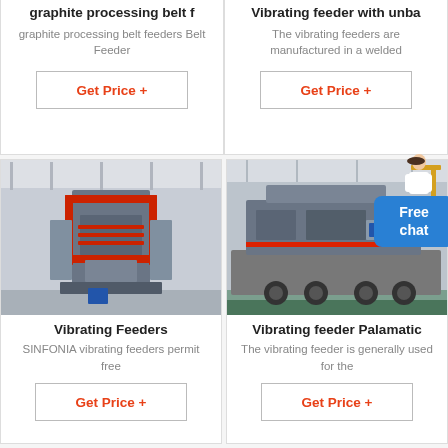graphite processing belt f
graphite processing belt feeders Belt Feeder
Get Price +
Vibrating feeder with unba
The vibrating feeders are manufactured in a welded
Get Price +
[Figure (photo): Industrial vibrating feeder machine in a factory setting, large heavy machinery with red structural frames, shown on a warehouse floor]
Vibrating Feeders
SINFONIA vibrating feeders permit free
Get Price +
[Figure (photo): Vibrating feeder Palamatic machine on a trailer/truck in an industrial warehouse setting]
Vibrating feeder Palamatic
The vibrating feeder is generally used for the
Get Price +